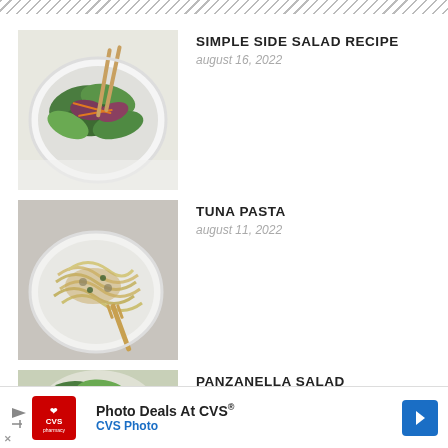[Figure (illustration): Diagonal dashed/dotted border pattern at top of page]
[Figure (photo): Overhead photo of a green salad in a white bowl with mixed greens, shredded carrots, and chopsticks on a cloth]
SIMPLE SIDE SALAD RECIPE
august 16, 2022
[Figure (photo): Overhead photo of tuna pasta in a white bowl with a gold fork on a gray surface]
TUNA PASTA
august 11, 2022
[Figure (photo): Partial overhead photo of panzanella salad, partially obscured by ad banner]
PANZANELLA SALAD
[Figure (other): CVS Photo advertisement banner: Photo Deals At CVS® / CVS Photo with CVS pharmacy logo and navigation arrow]